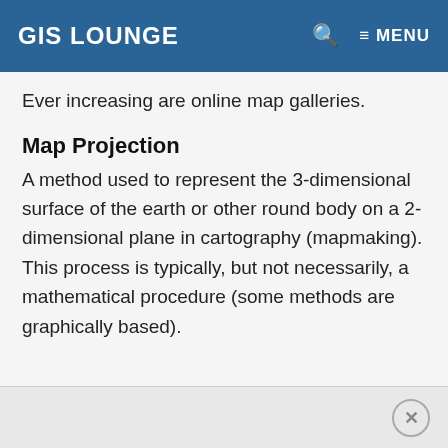GIS LOUNGE
Ever increasing are online map galleries.
Map Projection
A method used to represent the 3-dimensional surface of the earth or other round body on a 2-dimensional plane in cartography (mapmaking). This process is typically, but not necessarily, a mathematical procedure (some methods are graphically based).